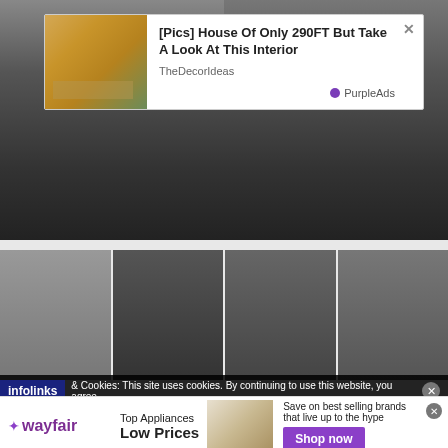[Figure (photo): Two fashion photos side by side showing lower body clothing, dark concrete background]
[Figure (photo): Pop-up advertisement showing a small wooden house exterior and interior teaser]
[Pics] House Of Only 290FT But Take A Look At This Interior
TheDecorIdeas
PurpleAds
[Figure (photo): Four fashion photos in a row showing people in casual/streetwear outfits against concrete walls]
infolinks & Cookies: This site uses cookies. By continuing to use this website, you agree
[Figure (photo): Wayfair advertisement banner — Top Appliances Low Prices, Save on best selling brands that live up to the hype, Shop now button]
Top Appliances Low Prices
Save on best selling brands that live up to the hype
Shop now